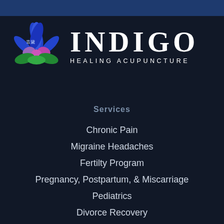[Figure (logo): Indigo Healing Acupuncture logo with lotus flower graphic in blue, pink, and green, with Chinese characters, and large text INDIGO HEALING ACUPUNCTURE]
Services
Chronic Pain
Migraine Headaches
Fertilty Program
Pregnancy, Postpartum, & Miscarriage
Pediatrics
Divorce Recovery